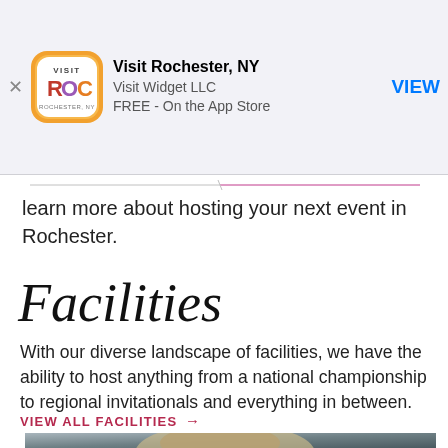[Figure (screenshot): App Store banner for Visit Rochester NY app by Visit Widget LLC. Shows app icon with orange rounded square background and ROC logo, title 'Visit Rochester, NY', subtitle 'Visit Widget LLC', 'FREE - On the App Store', and a blue VIEW button.]
learn more about hosting your next event in Rochester.
Facilities
With our diverse landscape of facilities, we have the ability to host anything from a national championship to regional invitationals and everything in between.
VIEW ALL FACILITIES →
[Figure (photo): Photo of a person outdoors in winter clothing, appears to be a woman with blonde hair bun wearing a fur-trimmed jacket.]